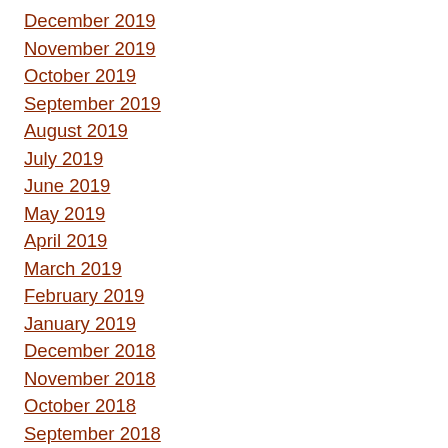December 2019
November 2019
October 2019
September 2019
August 2019
July 2019
June 2019
May 2019
April 2019
March 2019
February 2019
January 2019
December 2018
November 2018
October 2018
September 2018
August 2018
July 2018
June 2018